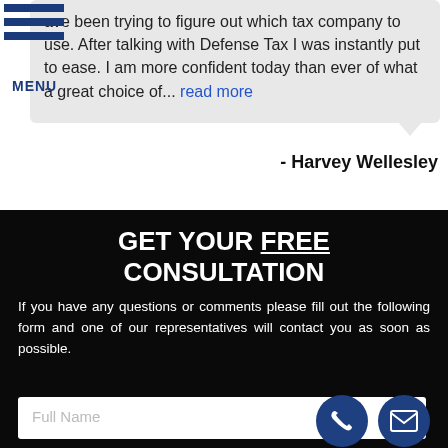ave been trying to figure out which tax company to use. After talking with Defense Tax I was instantly put to ease. I am more confident today than ever of what a great choice of... read more
- Harvey Wellesley
GET YOUR FREE CONSULTATION
If you have any questions or comments please fill out the following form and one of our representatives will contact you as soon as possible.
Full Name